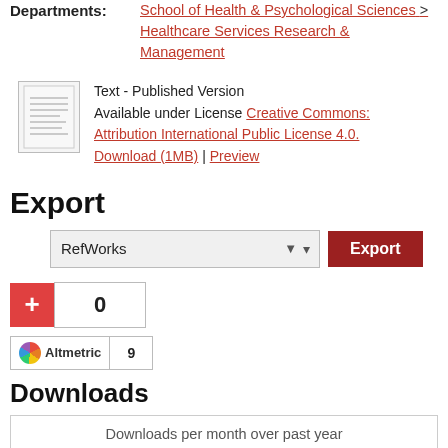Departments: School of Health & Psychological Sciences > Healthcare Services Research & Management
Text - Published Version
Available under License Creative Commons: Attribution International Public License 4.0.
Download (1MB) | Preview
Export
RefWorks [dropdown] Export [button]
[Figure (other): Plus button with counter showing 0]
[Figure (other): Altmetric badge showing score 9]
Downloads
Downloads per month over past year
Loading...